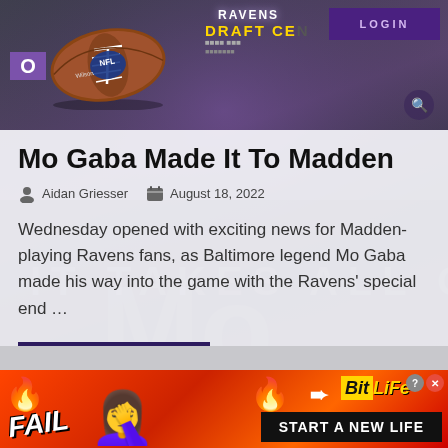[Figure (screenshot): Ravens Draft Center website header with NFL football image, purple stadium background, RAVENS DRAFT CE... text, LOGIN button, navigation O element, and search icon]
Mo Gaba Made It To Madden
Aidan Griesser   August 18, 2022
Wednesday opened with exciting news for Madden-playing Ravens fans, as Baltimore legend Mo Gaba made his way into the game with the Ravens' special end …
READ MORE →
[Figure (screenshot): BitLife advertisement banner with FAIL text, emoji, fire graphics and START A NEW LIFE text on red background]